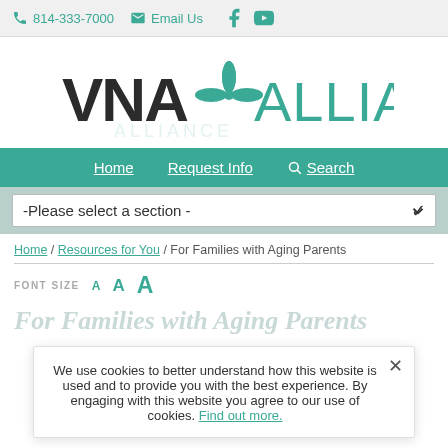814-333-7000  Email Us [Facebook] [YouTube]
[Figure (logo): VNA Alliance logo with teal flower/cross emblem between VNA and ALLIANCE text]
Home  Request Info  Search
-Please select a section -
Home / Resources for You / For Families with Aging Parents
FONT SIZE  A  A  A
For Families with Aging Parents
We use cookies to better understand how this website is used and to provide you with the best experience. By engaging with this website you agree to our use of cookies. Find out more.